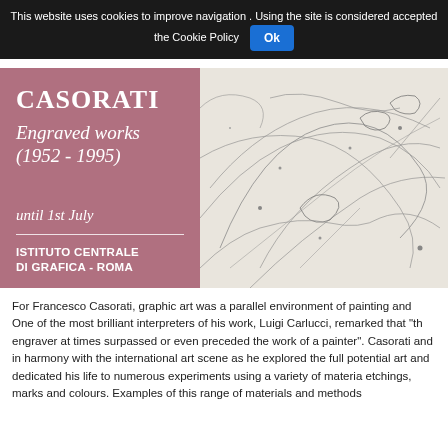This website uses cookies to improve navigation . Using the site is considered accepted the Cookie Policy Ok
[Figure (illustration): Exhibition poster for Francesco Casorati 'Engraved works (1952–1995)' showing a mauve/dusty-rose left panel with white serif text and a pencil/line-art sketch on the right side. Text reads: CASORATI / Engraved works / (1952-1995) / until 1st July / ISTITUTO CENTRALE / DI GRAFICA - ROMA]
For Francesco Casorati, graphic art was a parallel environment of painting and One of the most brilliant interpreters of his work, Luigi Carlucci, remarked that "th engraver at times surpassed or even preceded the work of a painter". Casorati and in harmony with the international art scene as he explored the full potential art and dedicated his life to numerous experiments using a variety of materia etchings, marks and colours. Examples of this range of materials and methods